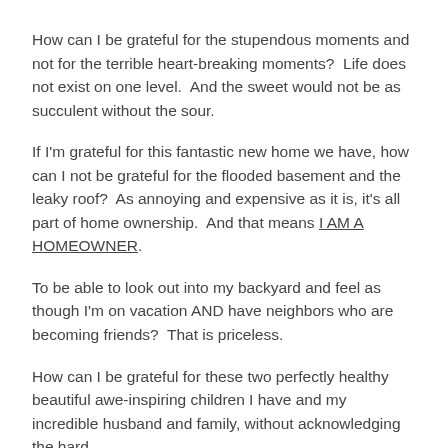How can I be grateful for the stupendous moments and not for the terrible heart-breaking moments?  Life does not exist on one level.  And the sweet would not be as succulent without the sour.
If I'm grateful for this fantastic new home we have, how can I not be grateful for the flooded basement and the leaky roof?  As annoying and expensive as it is, it's all part of home ownership.  And that means I AM A HOMEOWNER.
To be able to look out into my backyard and feel as though I'm on vacation AND have neighbors who are becoming friends?  That is priceless.
How can I be grateful for these two perfectly healthy beautiful awe-inspiring children I have and my incredible husband and family, without acknowledging the hard